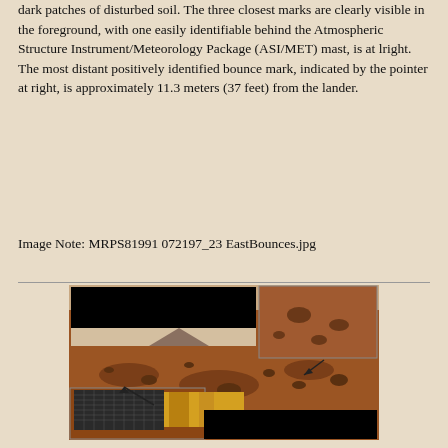dark patches of disturbed soil. The three closest marks are clearly visible in the foreground, with one easily identifiable behind the Atmospheric Structure Instrument/Meteorology Package (ASI/MET) mast, is at lright. The most distant positively identified bounce mark, indicated by the pointer at right, is approximately 11.3 meters (37 feet) from the lander.
Image Note: MRPS81991 072197_23 EastBounces.jpg
[Figure (photo): Mars Pathfinder surface image showing rocky Martian terrain with bounce marks visible. Two inset panels: upper-right shows a close-up of rocks, lower-left shows the lander hardware with solar panels and gold mylar. Pointer arrows indicate bounce marks on the Martian surface.]